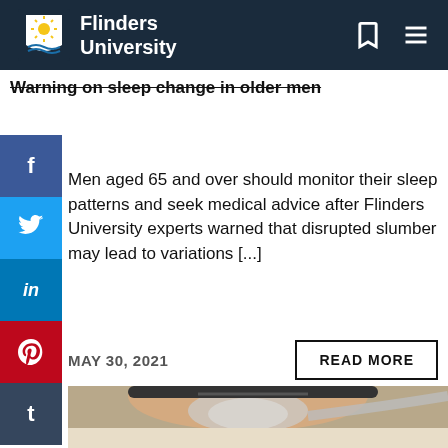Flinders University
Warning on sleep change in older men
Men aged 65 and over should monitor their sleep patterns and seek medical advice after Flinders University experts warned that disrupted slumber may lead to variations [...]
MAY 30, 2021
[Figure (photo): Man sleeping wearing a CPAP mask with tubing, lying on a pillow with eyes closed]
READ MORE